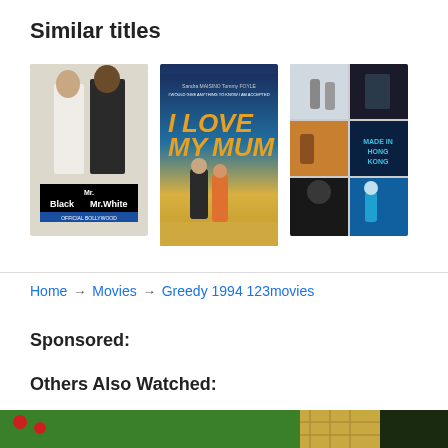Similar titles
[Figure (photo): Three movie posters side by side: Mr. Black Mr. White, I Love My Mum, and Made in Hong Kong (mosaic collage)]
Home → Movies → Greedy 1994 123movies
Sponsored:
Others Also Watched:
[Figure (photo): Partial bottom image strip showing colorful movie thumbnail]